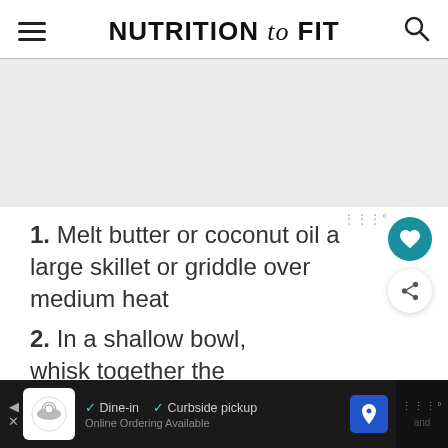NUTRITION to FIT
[Figure (other): Gray advertisement placeholder area]
Melt butter or coconut oil a large skillet or griddle over medium heat
In a shallow bowl, whisk together eggs, milk, vanilla, and cinnamon.
[Figure (other): What's Next panel: Blueberry French Toast]
[Figure (other): Footer advertisement: Dine-in / Curbside pickup / Online Ordering Available]